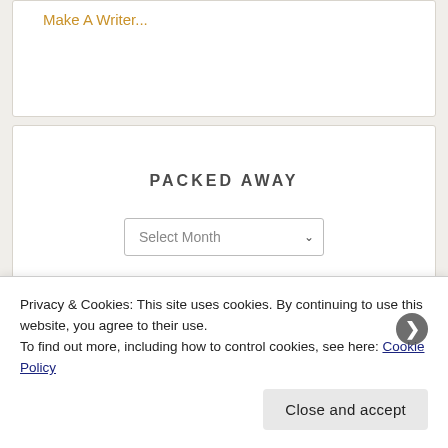Make A Writer...
PACKED AWAY
Select Month
Privacy & Cookies: This site uses cookies. By continuing to use this website, you agree to their use.
To find out more, including how to control cookies, see here: Cookie Policy
Close and accept